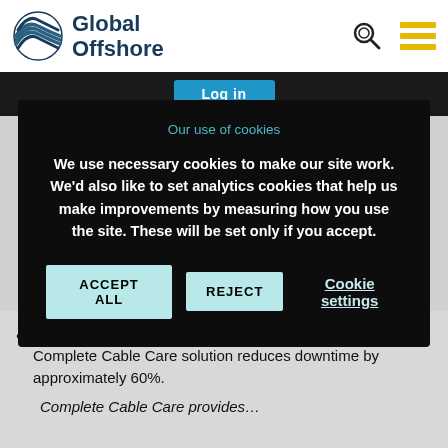[Figure (logo): Global Offshore logo with stylized wave globe icon and bold text 'Global Offshore']
[Figure (other): Search icon (magnifying glass) and hamburger menu icon (three yellow lines) in the header]
[Figure (screenshot): Login button (blue, text 'Log in') on a dark background strip]
Our use of cookies
We use necessary cookies to make our site work. We'd also like to set analytics cookies that help us make improvements by measuring how you use the site. These will be set only if you accept.
ACCEPT ALL | REJECT | Cookie settings
Against the market average of 100 days, Global Offshore's Complete Cable Care solution reduces downtime by approximately 60%.
Complete Cable Care provides…